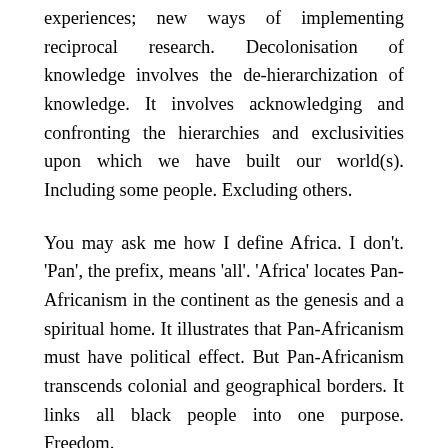experiences; new ways of implementing reciprocal research. Decolonisation of knowledge involves the de-hierarchization of knowledge. It involves acknowledging and confronting the hierarchies and exclusivities upon which we have built our world(s). Including some people. Excluding others.
You may ask me how I define Africa. I don't. 'Pan', the prefix, means 'all'. 'Africa' locates Pan-Africanism in the continent as the genesis and a spiritual home. It illustrates that Pan-Africanism must have political effect. But Pan-Africanism transcends colonial and geographical borders. It links all black people into one purpose. Freedom.
We may individually be able to recognise anti-Blackness, but no one can dismantle it alone. Pan-Africanism is continuous work and hope and work and hope. And love. As Colin Kaepernick said in his acceptance speech for the